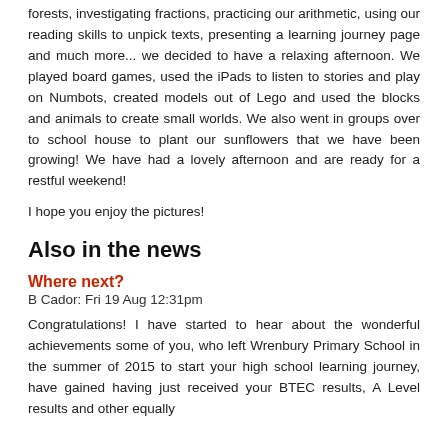forests, investigating fractions, practicing our arithmetic, using our reading skills to unpick texts, presenting a learning journey page and much more... we decided to have a relaxing afternoon. We played board games, used the iPads to listen to stories and play on Numbots, created models out of Lego and used the blocks and animals to create small worlds. We also went in groups over to school house to plant our sunflowers that we have been growing! We have had a lovely afternoon and are ready for a restful weekend!
I hope you enjoy the pictures!
Also in the news
Where next?
B Cador: Fri 19 Aug 12:31pm
Congratulations! I have started to hear about the wonderful achievements some of you, who left Wrenbury Primary School in the summer of 2015 to start your high school learning journey, have gained having just received your BTEC results, A Level results and other equally